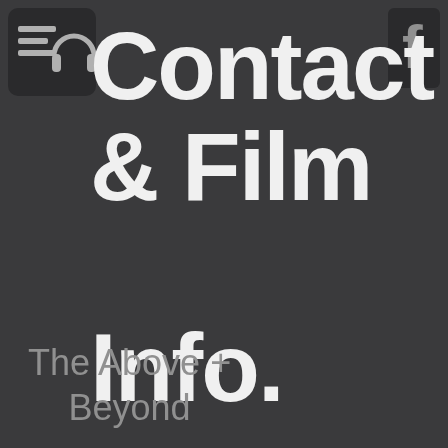[Figure (logo): Dark square icon with headphones and horizontal lines (menu/audio icon) in top-left corner]
[Figure (logo): Facebook icon 'f' in top-right corner]
Contact & Film Info.
The Above + Beyond